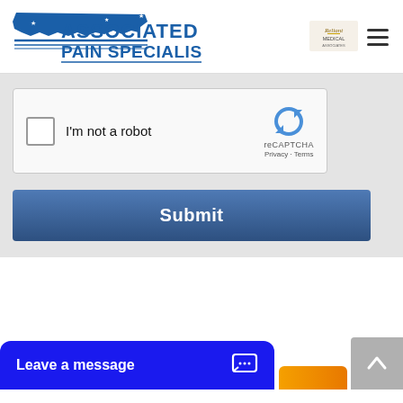[Figure (logo): Associated Pain Specialists logo with Tennessee state map graphic in blue and horizontal lines]
[Figure (logo): Small partner/affiliate logo on top right]
[Figure (screenshot): reCAPTCHA widget with checkbox and 'I'm not a robot' text]
Submit
Leave a message